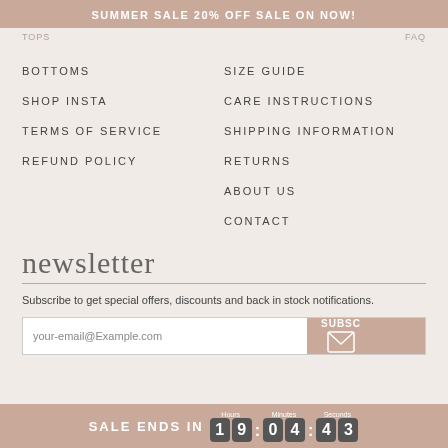SUMMER SALE 20% OFF SALE ON NOW!
TOPS   FAQ
BOTTOMS
SIZE GUIDE
SHOP INSTA
CARE INSTRUCTIONS
TERMS OF SERVICE
SHIPPING INFORMATION
REFUND POLICY
RETURNS
ABOUT US
CONTACT
newsletter
Subscribe to get special offers, discounts and back in stock notifications.
your-email@Example.com
SUBSC
SALE ENDS IN 19:04:43  Hours Minutes Seconds